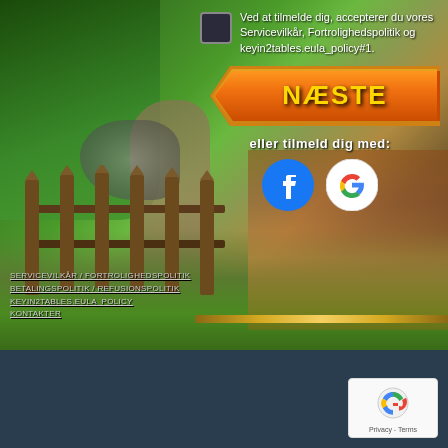[Figure (screenshot): Fantasy/medieval game registration screen with lush green forest landscape background, wooden fence, barn structure, dirt path. UI overlay with checkbox, NÆSTE (Next) button in orange/gold, social login icons (Facebook, Google), and footer links.]
Ved at tilmelde dig, accepterer du vores Servicevilkår, Fortrolighedspolitik og keyin2tables.eula_policy#1.
NÆSTE
eller tilmeld dig med:
SERVICEVILKÅR  FORTROLIGHEDSPOLITIK  BETALINGSPOLITIK  REFUSIONSPOLITIK  KEYIN2TABLES.EULA_POLICY  KONTAKTER
[Figure (logo): reCAPTCHA badge with circular arrow icon and Privacy - Terms text]